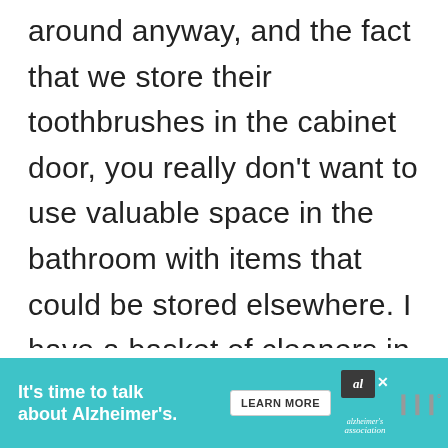around anyway, and the fact that we store their toothbrushes in the cabinet door, you really don't want to use valuable space in the bathroom with items that could be stored elsewhere. I have a basket of cleaners in my linen closet so we can fill their...
[Figure (other): Advertisement banner for Alzheimer's Association: 'It's time to talk about Alzheimer's.' with a LEARN MORE button, Alzheimer's Association logo, and a waves icon.]